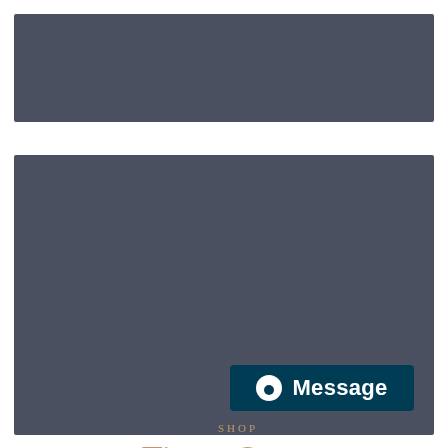[Figure (illustration): Top dark slate-blue rectangular panel, placeholder image area]
[Figure (illustration): Bottom dark slate-blue rectangular panel with centered text 'SHOP' and 'Times Square' in gold/tan serif font, and a dark teal 'Message' button in the lower right corner]